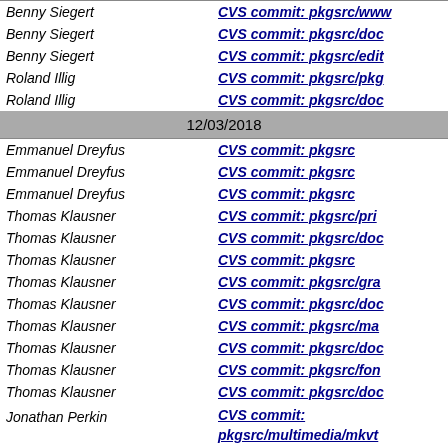| Name | Commit |
| --- | --- |
| Benny Siegert | CVS commit: pkgsrc/www |
| Benny Siegert | CVS commit: pkgsrc/doc |
| Benny Siegert | CVS commit: pkgsrc/edit |
| Roland Illig | CVS commit: pkgsrc/pkg |
| Roland Illig | CVS commit: pkgsrc/doc |
| 12/03/2018 |  |
| Emmanuel Dreyfus | CVS commit: pkgsrc |
| Emmanuel Dreyfus | CVS commit: pkgsrc |
| Emmanuel Dreyfus | CVS commit: pkgsrc |
| Thomas Klausner | CVS commit: pkgsrc/pri |
| Thomas Klausner | CVS commit: pkgsrc/doc |
| Thomas Klausner | CVS commit: pkgsrc |
| Thomas Klausner | CVS commit: pkgsrc/gra |
| Thomas Klausner | CVS commit: pkgsrc/doc |
| Thomas Klausner | CVS commit: pkgsrc/ma |
| Thomas Klausner | CVS commit: pkgsrc/doc |
| Thomas Klausner | CVS commit: pkgsrc/fon |
| Thomas Klausner | CVS commit: pkgsrc/doc |
| Jonathan Perkin | CVS commit: pkgsrc/multimedia/mkvt |
| Jonathan Perkin | CVS commit: pkgsrc/... |